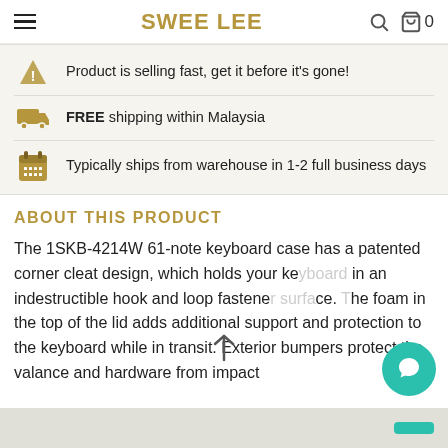SWEE LEE
Product is selling fast, get it before it's gone!
FREE shipping within Malaysia
Typically ships from warehouse in 1-2 full business days
ABOUT THIS PRODUCT
The 1SKB-4214W 61-note keyboard case has a patented corner cleat design, which holds your keyboard in an indestructible hook and loop fastener surface. The foam in the top of the lid adds additional support and protection to the keyboard while in transit. Exterior bumpers protect the valance and hardware from impact